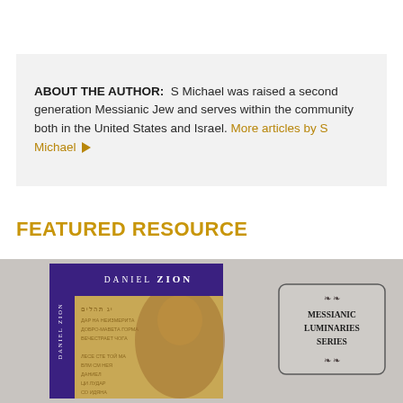ABOUT THE AUTHOR: S Michael was raised a second generation Messianic Jew and serves within the community both in the United States and Israel. More articles by S Michael ▶
FEATURED RESOURCE
[Figure (photo): Book cover for 'Daniel Zion' from the Messianic Luminaries Series, showing a purple top band with the author name, a golden-toned portrait of a bearded man, and a badge on the right reading 'MESSIANIC LUMINARIES SERIES', all on a grey background.]